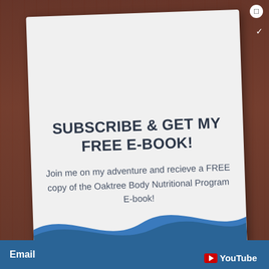[Figure (photo): Background showing brick building exterior]
SUBSCRIBE & GET MY FREE E-BOOK!
Join me on my adventure and recieve a FREE copy of the Oaktree Body Nutritional Program E-book!
Email   YouTube